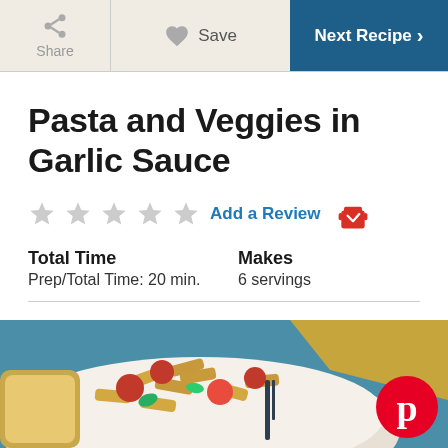Share | Save | Next Recipe >
Pasta and Veggies in Garlic Sauce
☆☆☆☆☆ Add a Review
Total Time
Prep/Total Time: 20 min.
Makes
6 servings
[Figure (photo): Bowl of penne pasta with tomatoes and vegetables in garlic sauce, with bread on the side and a yellow cloth in background]